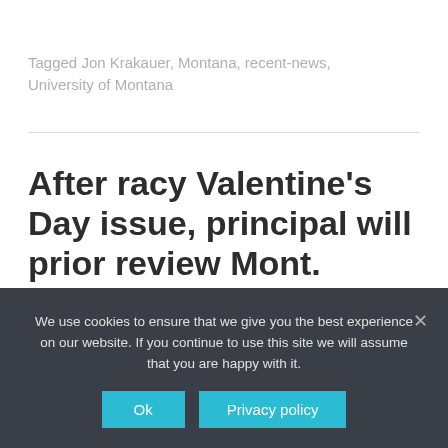Tagged Jon Krakauer, Montana, recent-news, University of Montana
After racy Valentine's Day issue, principal will prior review Mont. student paper
NEWS
We use cookies to ensure that we give you the best experience on our website. If you continue to use this site we will assume that you are happy with it.